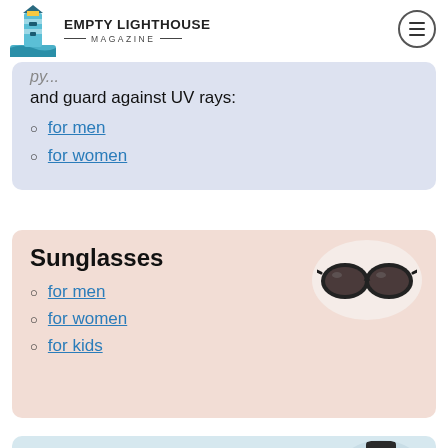EMPTY LIGHTHOUSE MAGAZINE
and guard against UV rays:
for men
for women
Sunglasses
[Figure (photo): A pair of dark black/grey sunglasses on a pale oval background]
for men
for women
for kids
Skirts
[Figure (photo): A person wearing a colorful teal/multicolor skirt, cropped at waist]
short